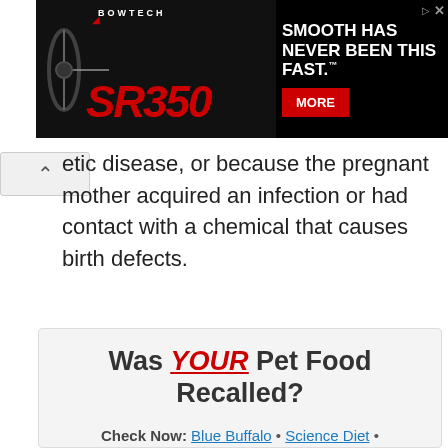[Figure (other): Bowtech SR350 advertisement banner. Black background with compound bow image on left, red stylized 'SR350' text, Bowtech logo, and tagline 'SMOOTH HAS NEVER BEEN THIS FAST.' with a red MORE button.]
etic disease, or because the pregnant mother acquired an infection or had contact with a chemical that causes birth defects.
[Figure (infographic): Pet food recall advertisement card with heading 'Was YOUR Pet Food Recalled?' and links: Blue Buffalo, Science Diet, Purina, Wellness, 4health, Canine Carry Outs, Friskies, Taste of the Wild, See 200+ more brands.]